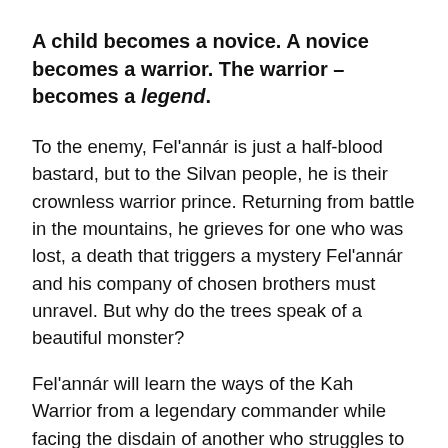A child becomes a novice. A novice becomes a warrior. The warrior – becomes a legend.
To the enemy, Fel'annár is just a half-blood bastard, but to the Silvan people, he is their crownless warrior prince. Returning from battle in the mountains, he grieves for one who was lost, a death that triggers a mystery Fel'annár and his company of chosen brothers must unravel. But why do the trees speak of a beautiful monster?
Fel'annár will learn the ways of the Kah Warrior from a legendary commander while facing the disdain of another who struggles to accept this 'ignoble son' for who he is, not for what he represents. Meanwhile,